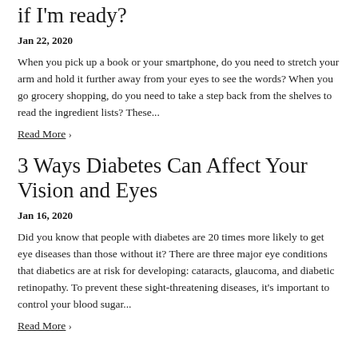if I'm ready?
Jan 22, 2020
When you pick up a book or your smartphone, do you need to stretch your arm and hold it further away from your eyes to see the words? When you go grocery shopping, do you need to take a step back from the shelves to read the ingredient lists? These...
Read More ›
3 Ways Diabetes Can Affect Your Vision and Eyes
Jan 16, 2020
Did you know that people with diabetes are 20 times more likely to get eye diseases than those without it? There are three major eye conditions that diabetics are at risk for developing: cataracts, glaucoma, and diabetic retinopathy. To prevent these sight-threatening diseases, it's important to control your blood sugar...
Read More ›